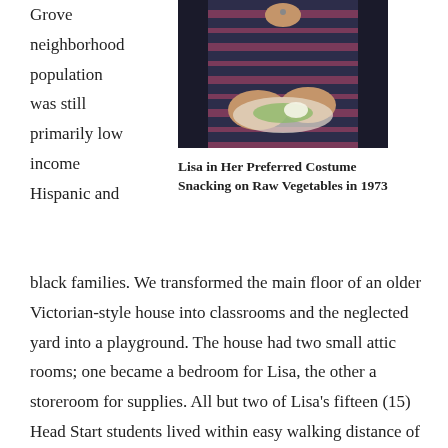Grove neighborhood population was still primarily low income Hispanic and
[Figure (photo): Person in striped shirt holding a plate with food, snacking on raw vegetables, 1973]
Lisa in Her Preferred Costume Snacking on Raw Vegetables in 1973
black families. We transformed the main floor of an older Victorian-style house into classrooms and the neglected yard into a playground. The house had two small attic rooms; one became a bedroom for Lisa, the other a storeroom for supplies. All but two of Lisa's fifteen (15) Head Start students lived within easy walking distance of the Goss Street Center.  Funds previously needed for busing  were instead used to hire a cook and the kitchen became a place where fresh and delicious culturally familiar foods were prepared.